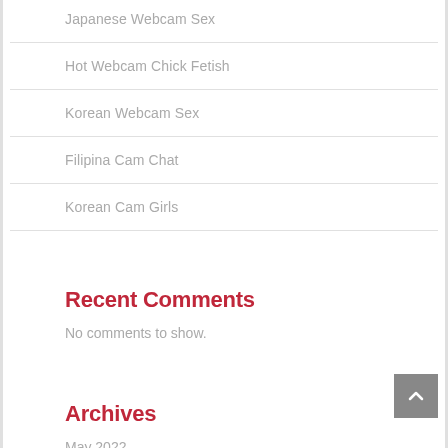Japanese Webcam Sex
Hot Webcam Chick Fetish
Korean Webcam Sex
Filipina Cam Chat
Korean Cam Girls
Recent Comments
No comments to show.
Archives
May 2022